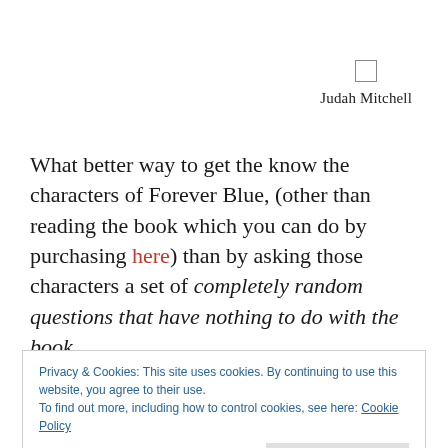Judah Mitchell
What better way to get the know the characters of Forever Blue, (other than reading the book which you can do by purchasing here) than by asking those characters a set of completely random questions that have nothing to do with the book .
Privacy & Cookies: This site uses cookies. By continuing to use this website, you agree to their use.
To find out more, including how to control cookies, see here: Cookie Policy
What is your favourite time of the day?